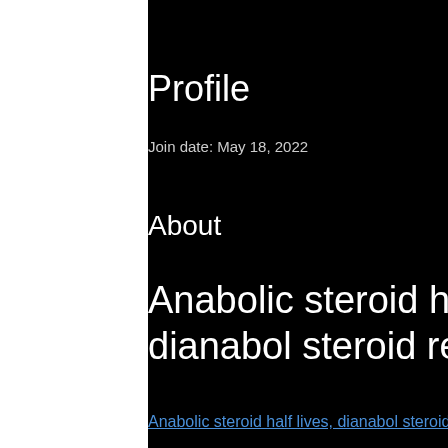Profile
Join date: May 18, 2022
About
Anabolic steroid half lives, dianabol steroid results
Anabolic steroid half lives, dianabol steroid results - Buy legal anabolic steroids
[Figure (photo): Blurred/obscured product image]